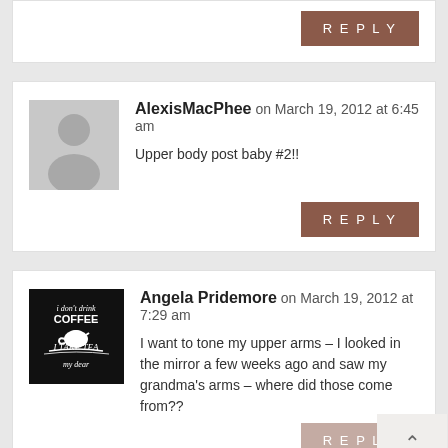REPLY
AlexisMacPhee on March 19, 2012 at 6:45 am
Upper body post baby #2!!
REPLY
Angela Pridemore on March 19, 2012 at 7:29 am
I want to tone my upper arms – I looked in the mirror a few weeks ago and saw my grandma's arms – where did those come from??
REPLY